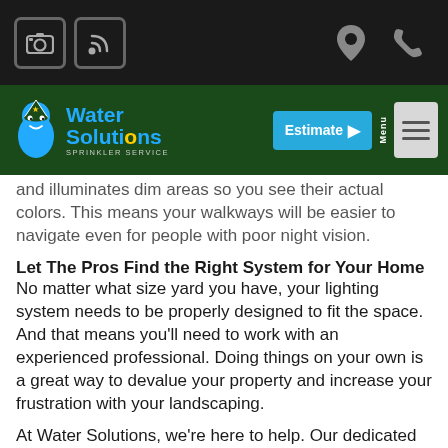[Top navigation bar with icons: camera, RSS feed, location pin, phone]
[Figure (logo): Water Solutions Sprinkler Service logo with blue mascot character, blue text, on dark green navigation bar. Estimate button and Menu button also visible.]
and illuminates dim areas so you see their actual colors. This means your walkways will be easier to navigate even for people with poor night vision.
Let The Pros Find the Right System for Your Home
No matter what size yard you have, your lighting system needs to be properly designed to fit the space. And that means you'll need to work with an experienced professional. Doing things on your own is a great way to devalue your property and increase your frustration with your landscaping.
At Water Solutions, we're here to help. Our dedicated team knows what works and what doesn't for Denver-area yards and gardens. We'll help you find the right lighting design, fixtures, and installation to transform your property into a show-stopping masterpiece…